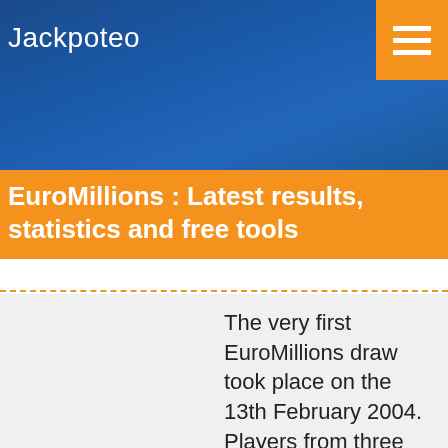Jackpoteo
EuroMillions : Latest results, statistics and free tools
The very first EuroMillions draw took place on the 13th February 2004. Players from three different countries could